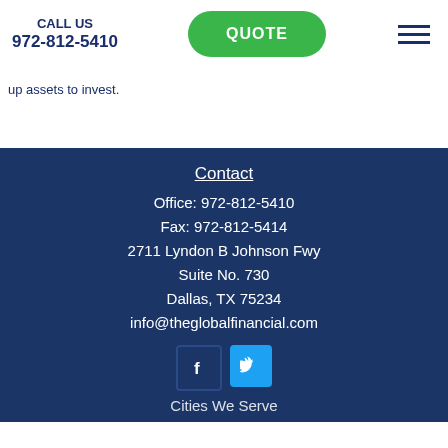CALL US 972-812-5410
up assets to invest.
Contact
Office: 972-812-5410
Fax: 972-812-5414
2711 Lyndon B Johnson Fwy
Suite No. 730
Dallas, TX 75234
info@theglobalfinancial.com
Cities We Serve